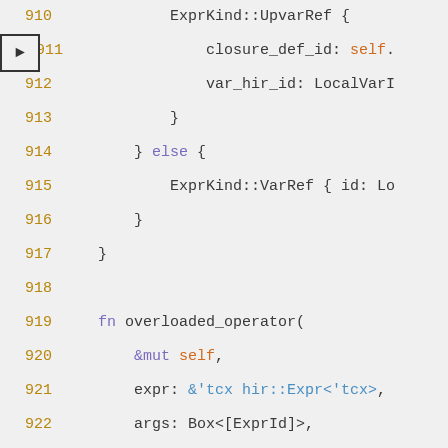[Figure (screenshot): Source code viewer showing Rust code lines 910-928, with a breakpoint arrow marker on line 911. Code shows ExprKind::UpvarRef, else block, and overloaded_operator function definition.]